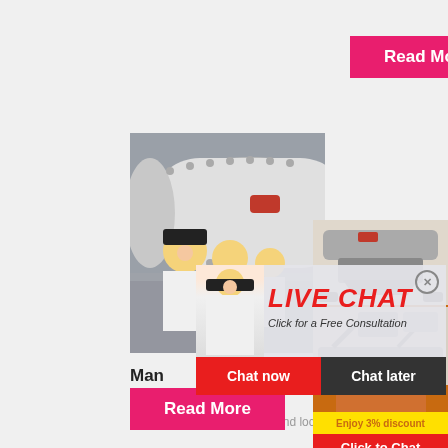[Figure (infographic): Pink/red 'Read More' button at top]
[Figure (photo): Industrial ball mill machinery with workers in yellow hard hats in foreground, factory setting]
[Figure (infographic): Live Chat popup overlay with worker image, 'LIVE CHAT' title in red italic, 'Click for a Free Consultation' subtitle, 'Chat now' red button and 'Chat later' dark button]
[Figure (infographic): Orange sidebar panel with mining/crushing equipment images, 'Enjoy 3% discount' yellow bar, 'Click to Chat' red bar, 'Enquiry' section, and 'limingjlmofen@sina.com' email]
Man
Zim
hippo mill for stone contact and location i...
[Figure (infographic): Pink/red 'Read More' button at bottom]